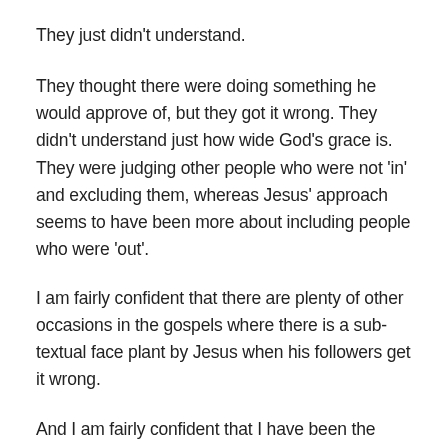They just didn't understand.
They thought there were doing something he would approve of, but they got it wrong. They didn't understand just how wide God's grace is. They were judging other people who were not 'in' and excluding them, whereas Jesus' approach seems to have been more about including people who were 'out'.
I am fairly confident that there are plenty of other occasions in the gospels where there is a sub-textual face plant by Jesus when his followers get it wrong.
And I am fairly confident that I have been the cause of quite a few divine face-plants.
And I suspect when Christians are being judgemental